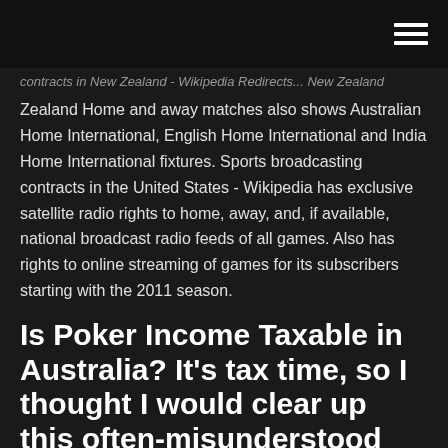contracts in New Zealand - Wikipedia Redirects... New Zealand Home and away matches...
Zealand Home and away matches also shows Australian Home International, English Home International and India Home International fixtures. Sports broadcasting contracts in the United States - Wikipedia has exclusive satellite radio rights to home, away, and, if available, national broadcast radio feeds of all games. Also has rights to online streaming of games for its subscribers starting with the 2011 season.
Is Poker Income Taxable in Australia? It’s tax time, so I thought I would clear up this often-misunderstood area of